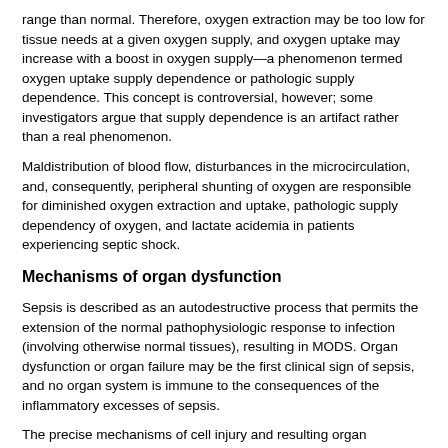range than normal. Therefore, oxygen extraction may be too low for tissue needs at a given oxygen supply, and oxygen uptake may increase with a boost in oxygen supply—a phenomenon termed oxygen uptake supply dependence or pathologic supply dependence. This concept is controversial, however; some investigators argue that supply dependence is an artifact rather than a real phenomenon.
Maldistribution of blood flow, disturbances in the microcirculation, and, consequently, peripheral shunting of oxygen are responsible for diminished oxygen extraction and uptake, pathologic supply dependency of oxygen, and lactate acidemia in patients experiencing septic shock.
Mechanisms of organ dysfunction
Sepsis is described as an autodestructive process that permits the extension of the normal pathophysiologic response to infection (involving otherwise normal tissues), resulting in MODS. Organ dysfunction or organ failure may be the first clinical sign of sepsis, and no organ system is immune to the consequences of the inflammatory excesses of sepsis.
The precise mechanisms of cell injury and resulting organ dysfunction in patients with sepsis are not fully understood. MODS is associated with widespread endothelial and parenchymal cell injury occurring via the following proposed mechanisms:
Hypoxic hypoxia – The septic circulatory lesion disrupts tissue oxygenation, alters the metabolic regulation of tissue oxygen delivery, and contributes to organ dysfunction; microvascular and endothelial abnormalities contribute to the septic microcirculatory defect in sepsis; ROS, lytic enzymes, vasoactive substances (eg, NO), and